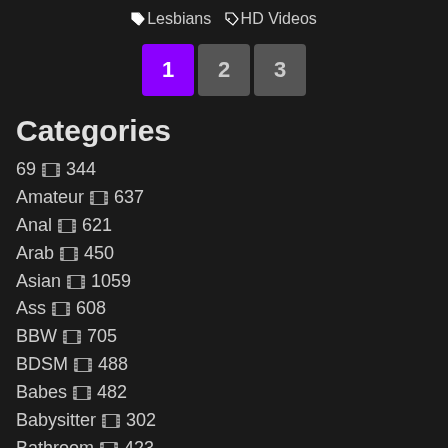🏷 Lesbians 🏷 HD Videos
[Figure (other): Pagination buttons: 1 (active/purple), 2, 3]
Categories
69 🎬 344
Amateur 🎬 637
Anal 🎬 621
Arab 🎬 450
Asian 🎬 1059
Ass 🎬 608
BBW 🎬 705
BDSM 🎬 488
Babes 🎬 482
Babysitter 🎬 302
Bathroom 🎬 423
Beach 🎬 449